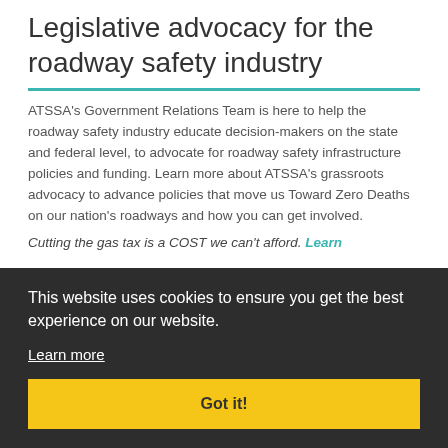Legislative advocacy for the roadway safety industry
ATSSA's Government Relations Team is here to help the roadway safety industry educate decision-makers on the state and federal level, to advocate for roadway safety infrastructure policies and funding. Learn more about ATSSA's grassroots advocacy to advance policies that move us Toward Zero Deaths on our nation's roadways and how you can get involved.
Cutting the gas tax is a COST we can't afford. Learn more
This website uses cookies to ensure you get the best experience on our website.
Learn more
Got it!
[Figure (photo): Decorative image at the bottom of the page, partially obscured by cookie banner, appears to show an emblem or seal.]